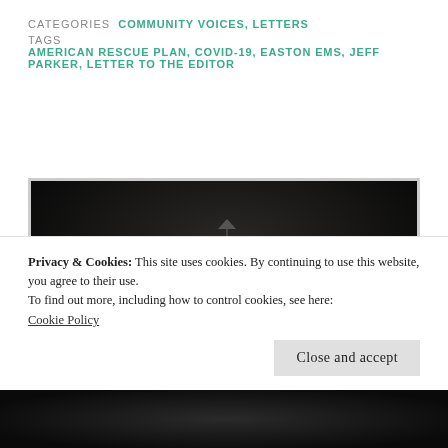CATEGORIES  COMMUNITY VOICES, LETTERS
TAGS  AMERICAN RESCUE PLAN, COVID-19, EASTON EMS, JEFF PARKER, LETTER TO THE EDITOR
[Figure (photo): Dark nighttime photograph of a building cupola or steeple with a weather vane on top, against a near-black sky. A streetlight is visible on the left side.]
Privacy & Cookies: This site uses cookies. By continuing to use this website, you agree to their use.
To find out more, including how to control cookies, see here:
Cookie Policy
Close and accept